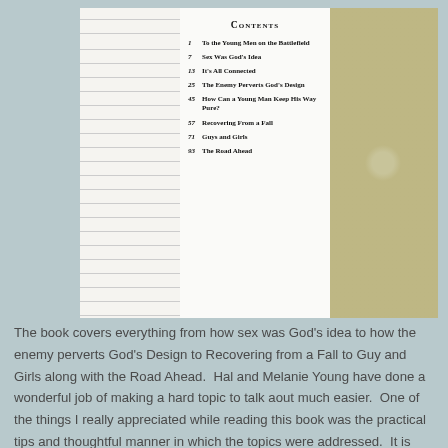[Figure (photo): Photograph of an open book showing the Contents page with chapter listings including: 1 To the Young Men on the Battlefield, 7 Sex Was God's Idea, 13 It's All Connected, 25 The Enemy Perverts God's Design, 45 How Can a Young Man Keep His Way Pure?, 57 Recovering From a Fall, 71 Guys and Girls, 93 The Road Ahead]
The book covers everything from how sex was God's idea to how the enemy perverts God's Design to Recovering from a Fall to Guy and Girls along with the Road Ahead.  Hal and Melanie Young have done a wonderful job of making a hard topic to talk aout much easier.  One of the things I really appreciated while reading this book was the practical tips and thoughtful manner in which the topics were addressed.  It is